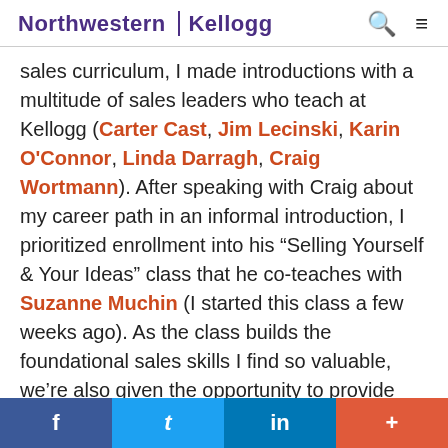Northwestern | Kellogg
sales curriculum, I made introductions with a multitude of sales leaders who teach at Kellogg (Carter Cast, Jim Lecinski, Karin O'Connor, Linda Darragh, Craig Wortmann). After speaking with Craig about my career path in an informal introduction, I prioritized enrollment into his “Selling Yourself & Your Ideas” class that he co-teaches with Suzanne Muchin (I started this class a few weeks ago). As the class builds the foundational sales skills I find so valuable, we’re also given the opportunity to provide weekly feedback. Furthermore, based on Craig’s similar background coming from IBM’s Summit program,
f  t  in  +